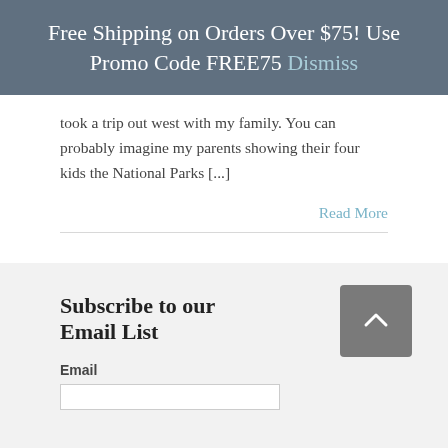Free Shipping on Orders Over $75! Use Promo Code FREE75 Dismiss
took a trip out west with my family. You can probably imagine my parents showing their four kids the National Parks [...]
Read More
Subscribe to our Email List
Email